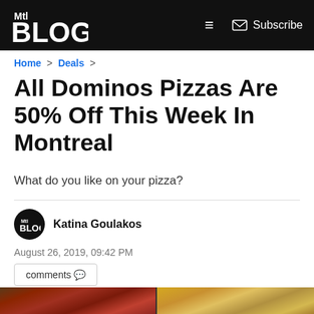MTL Blog | Subscribe
Home > Deals >
All Dominos Pizzas Are 50% Off This Week In Montreal
What do you like on your pizza?
Katina Goulakos
August 26, 2019, 09:42 PM
comments 🗨
[Figure (photo): Two photos of Dominos pizza: left shows a pepperoni pizza in an open box, right shows a cheese pizza slice being held up with stacked pizza boxes behind it]